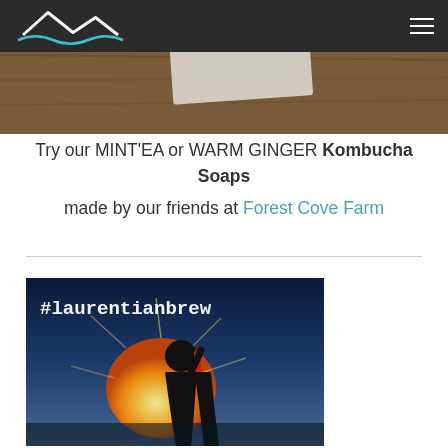[Figure (photo): Hero image showing wooden table surface with some papers/items, partially visible, with dark navigation bar overlay at top containing a mountain/wave logo on left and hamburger menu on right]
Try our MINT'EA or WARM GINGER Kombucha Soaps made by our friends at Forest Cove Farm
[Figure (photo): Photo of a person silhouetted against a bright sun drinking from a bottle, with text '#laurentianbrew' overlaid in monospace font]